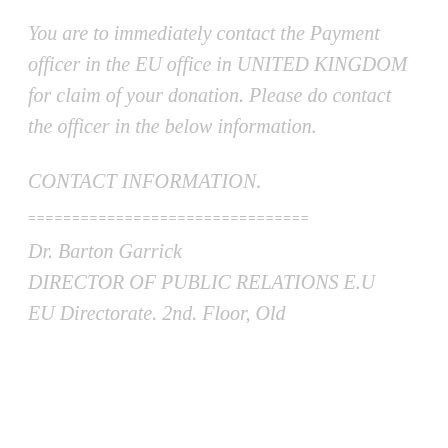You are to immediately contact the Payment officer in the EU office in UNITED KINGDOM for claim of your donation. Please do contact the officer in the below information.
CONTACT INFORMATION.
================================
Dr. Barton Garrick
DIRECTOR OF PUBLIC RELATIONS E.U
EU Directorate. 2nd. Floor, Old